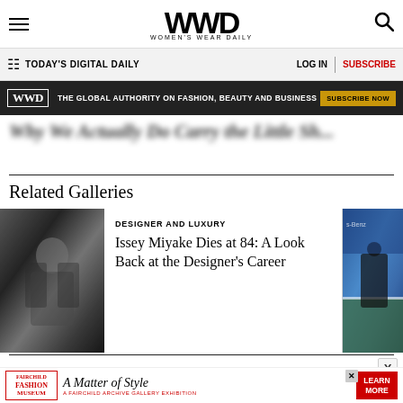WWD — Women's Wear Daily
TODAY'S DIGITAL DAILY   LOG IN   SUBSCRIBE
[Figure (screenshot): WWD ad banner: THE GLOBAL AUTHORITY ON FASHION, BEAUTY AND BUSINESS — SUBSCRIBE NOW]
Why We Actually Do Carry the Little Sh... (blurred title text)
Related Galleries
[Figure (photo): Black and white photo of Issey Miyake at a fashion event]
DESIGNER AND LUXURY
Issey Miyake Dies at 84: A Look Back at the Designer's Career
[Figure (photo): Partial photo of a tennis player on a blue court (Serena Williams at Benz event)]
[Figure (screenshot): Bottom ad: Fairchild Fashion Museum — A Matter of Style — A Fairchild Archive Gallery Exhibition — LEARN MORE]
X (close button)